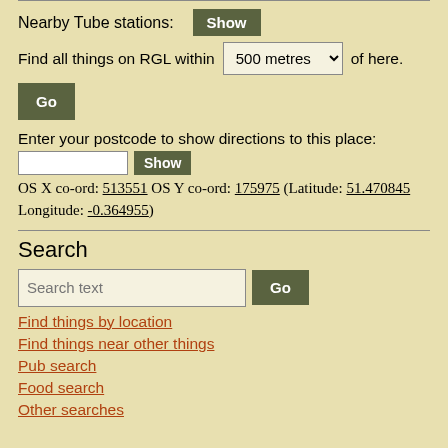Nearby Tube stations: Show
Find all things on RGL within 500 metres of here.
Go
Enter your postcode to show directions to this place:
Show
OS X co-ord: 513551 OS Y co-ord: 175975 (Latitude: 51.470845 Longitude: -0.364955)
Search
Search text   Go
Find things by location
Find things near other things
Pub search
Food search
Other searches